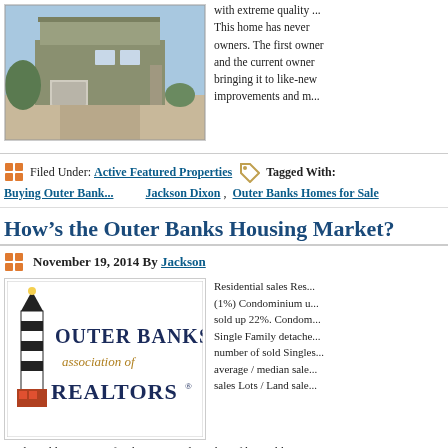[Figure (photo): Aerial or exterior photo of a coastal home with garage and deck]
with extreme quality ... This home has never owners. The first owner and the current owner bringing it to like-new improvements and m...
Filed Under: Active Featured Properties Tagged With: Buying Outer Banks, Jackson Dixon, Outer Banks Homes for Sale
How’s the Outer Banks Housing Market?
November 19, 2014 By Jackson
[Figure (logo): Outer Banks Association of Realtors logo with lighthouse]
Residential sales Residential sales (1%) Condominium u... sold up 22%. Condom... Single Family detached... number of sold Singles... average / median sale... sales Lots / Land sales...
residential lots up 13% for the year Total number of lots sold is up 5%. Inventory